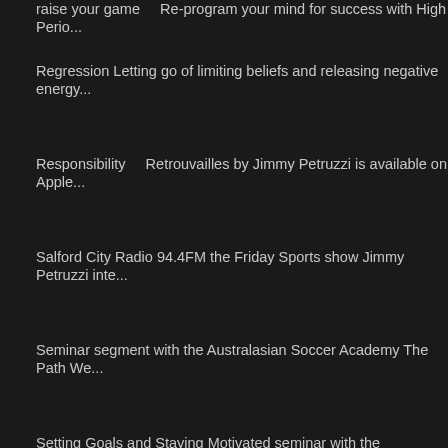raise your game    Re-program your mind for success with High Perio...
Regression Letting go of limiting beliefs and releasing negative energy...
Responsibility    Retrouvailles by Jimmy Petruzzi is available on Apple...
Salford City Radio 94.4FM the Friday Sports show Jimmy Petruzzi inte...
Seminar segment with the Australasian Soccer Academy The Path We...
Setting Goals and Staying Motivated seminar with the Australasian Soc...
Simple nutritional changes to lose help lose weight with Jimmy Petruzz...
Smoking Cessation    social psychology    Sports Performance Ques...
Structuring a Successful Hypnotherapy Appointment    Sumodalities
Svegliati Song by Jimmy Petruzzi available on Apple music, Amazon a...
taking a free kick    Testimonial    testimonials
The Best You EXPO seminar recording Jimmy Petruzzi Peak Mental S...